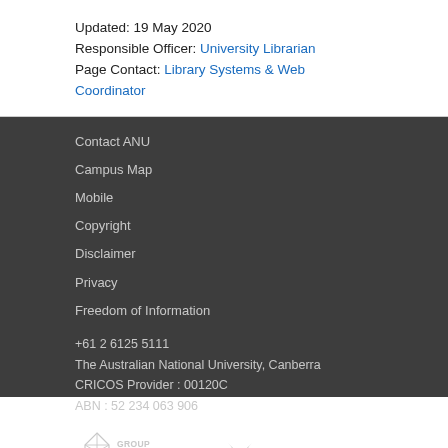Updated: 19 May 2020
Responsible Officer: University Librarian
Page Contact: Library Systems & Web Coordinator
Contact ANU
Campus Map
Mobile
Copyright
Disclaimer
Privacy
Freedom of Information
+61 2 6125 5111
The Australian National University, Canberra
CRICOS Provider : 00120C
ABN : 52 234 063 906
[Figure (logo): Group of Eight Australia logo and IARU logo]